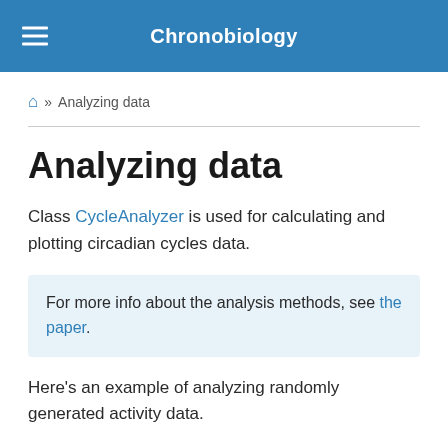Chronobiology
🏠 » Analyzing data
Analyzing data
Class CycleAnalyzer is used for calculating and plotting circadian cycles data.
For more info about the analysis methods, see the paper.
Here's an example of analyzing randomly generated activity data.